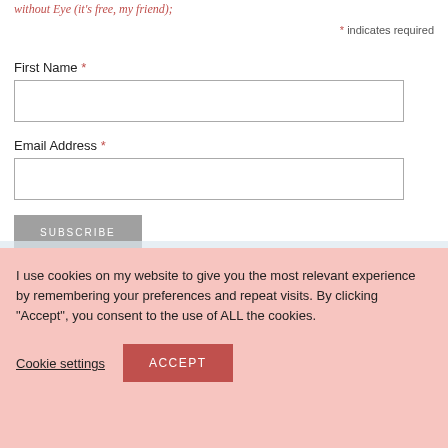without Eye (it's free, my friend);
* indicates required
First Name *
Email Address *
SUBSCRIBE
I use cookies on my website to give you the most relevant experience by remembering your preferences and repeat visits. By clicking “Accept”, you consent to the use of ALL the cookies.
Cookie settings
ACCEPT